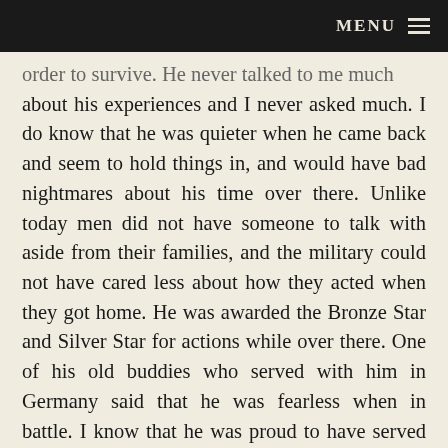MENU ≡
order to survive. He never talked to me much about his experiences and I never asked much. I do know that he was quieter when he came back and seem to hold things in, and would have bad nightmares about his time over there. Unlike today men did not have someone to talk with aside from their families, and the military could not have cared less about how they acted when they got home. He was awarded the Bronze Star and Silver Star for actions while over there. One of his old buddies who served with him in Germany said that he was fearless when in battle. I know that he was proud to have served in the military and requested that he be buried in his uniform, which he had kept for all those years.